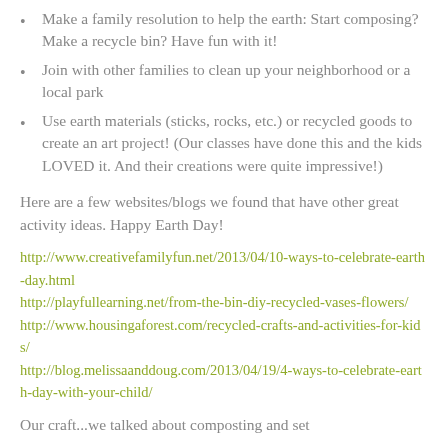Make a family resolution to help the earth: Start composing? Make a recycle bin? Have fun with it!
Join with other families to clean up your neighborhood or a local park
Use earth materials (sticks, rocks, etc.) or recycled goods to create an art project! (Our classes have done this and the kids LOVED it. And their creations were quite impressive!)
Here are a few websites/blogs we found that have other great activity ideas. Happy Earth Day!
http://www.creativefamilyfun.net/2013/04/10-ways-to-celebrate-earth-day.html
http://playfullearning.net/from-the-bin-diy-recycled-vases-flowers/
http://www.housingaforest.com/recycled-crafts-and-activities-for-kids/
http://blog.melissaanddoug.com/2013/04/19/4-ways-to-celebrate-earth-day-with-your-child/
Our craft...we talked about composting and set